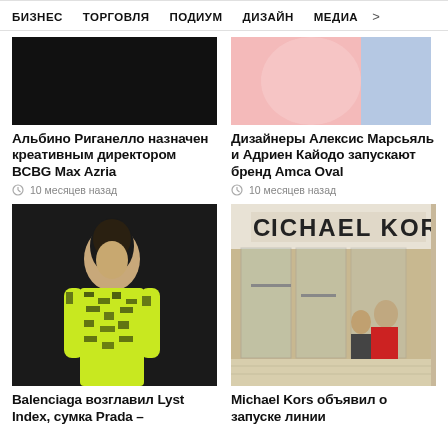БИЗНЕС   ТОРГОВЛЯ   ПОДИУМ   ДИЗАЙН   МЕДИА   >
[Figure (photo): Dark background photo, top left article image for BCBG Max Azria story]
Альбино Риганелло назначен креативным директором BCBG Max Azria
10 месяцев назад
[Figure (photo): Fashion photo with pink/blue tones, top right article image for Amca Oval brand story]
Дизайнеры Алексис Марсьяль и Адриен Кайодо запускают бренд Amca Oval
10 месяцев назад
[Figure (photo): Model in yellow-green and black patterned outfit on runway, Balenciaga story]
Balenciaga возглавил Lyst Index, сумка Prada –
[Figure (photo): Michael Kors store front with glass entrance and shoppers inside]
Michael Kors объявил о запуске линии